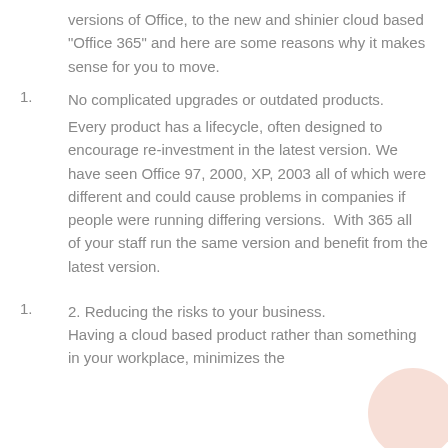versions of Office, to the new and shinier cloud based "Office 365" and here are some reasons why it makes sense for you to move.
No complicated upgrades or outdated products. Every product has a lifecycle, often designed to encourage re-investment in the latest version. We have seen Office 97, 2000, XP, 2003 all of which were different and could cause problems in companies if people were running differing versions.  With 365 all of your staff run the same version and benefit from the latest version.
2. Reducing the risks to your business. Having a cloud based product rather than something in your workplace, minimizes the